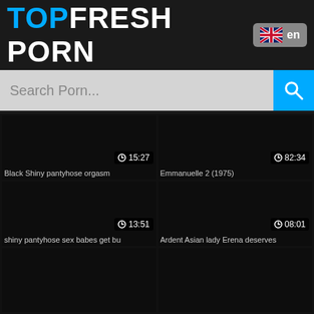TOPFRESH PORN
Search Porn...
[Figure (screenshot): Video thumbnail placeholder - black rectangle with duration 15:27]
Black Shiny pantyhose orgasm
[Figure (screenshot): Video thumbnail placeholder - black rectangle with duration 82:34]
Emmanuelle 2 (1975)
[Figure (screenshot): Video thumbnail placeholder - black rectangle with duration 13:51]
shiny pantyhose sex babes get bu
[Figure (screenshot): Video thumbnail placeholder - black rectangle with duration 08:01]
Ardent Asian lady Erena deserves
[Figure (screenshot): Video thumbnail placeholder - black rectangle (no duration visible)]
[Figure (screenshot): Video thumbnail placeholder - black rectangle (no duration visible)]